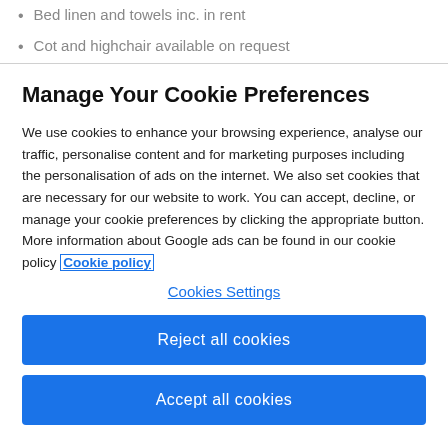Bed linen and towels inc. in rent
Cot and highchair available on request
Manage Your Cookie Preferences
We use cookies to enhance your browsing experience, analyse our traffic, personalise content and for marketing purposes including the personalisation of ads on the internet. We also set cookies that are necessary for our website to work. You can accept, decline, or manage your cookie preferences by clicking the appropriate button. More information about Google ads can be found in our cookie policy Cookie policy
Cookies Settings
Reject all cookies
Accept all cookies